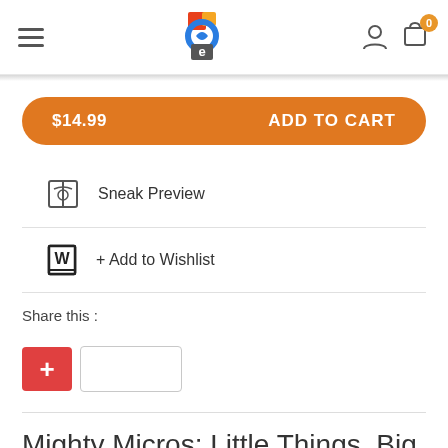Navigation header with hamburger menu, logo, user icon, and cart with badge 0
$14.99   ADD TO CART
Sneak Preview
+ Add to Wishlist
Share this :
[Figure (other): Share buttons: red plus button and a white Facebook share button]
Mighty Micros: Little Things, Big Results